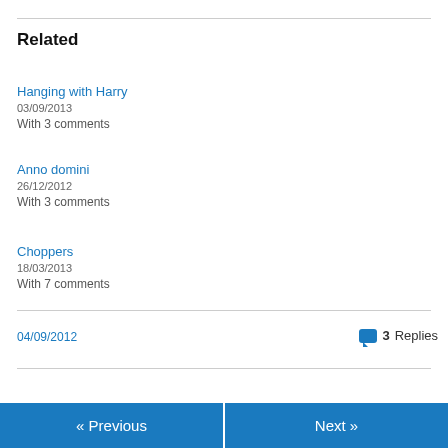Related
Hanging with Harry
03/09/2013
With 3 comments
Anno domini
26/12/2012
With 3 comments
Choppers
18/03/2013
With 7 comments
04/09/2012
3 Replies
« Previous    Next »